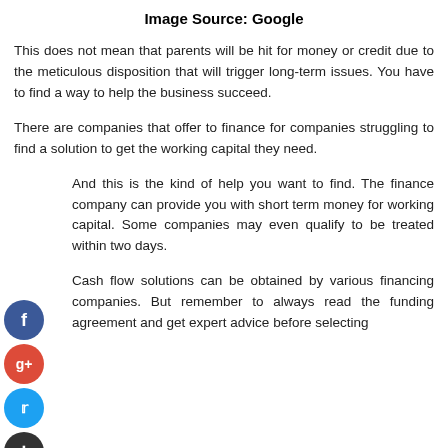Image Source: Google
This does not mean that parents will be hit for money or credit due to the meticulous disposition that will trigger long-term issues. You have to find a way to help the business succeed.
There are companies that offer to finance for companies struggling to find a solution to get the working capital they need.
And this is the kind of help you want to find. The finance company can provide you with short term money for working capital. Some companies may even qualify to be treated within two days.
Cash flow solutions can be obtained by various financing companies. But remember to always read the funding agreement and get expert advice before selecting